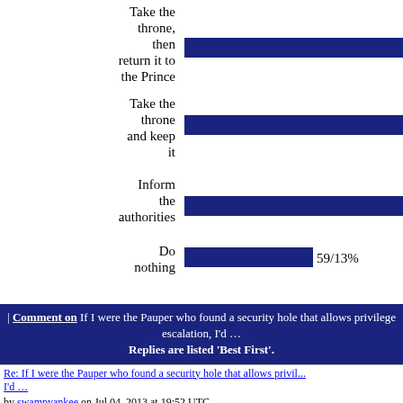[Figure (bar-chart): Poll results]
| Comment on If I were the Pauper who found a security hole that allows privilege escalation, I'd … Replies are listed 'Best First'.
Re: If I were the Pauper who found a security hole that allows privilege escalation, I'd …
by swampyankee on Jul 04, 2013 at 19:52 UTC
Obviously, take the throne, keep it, and fix the security hole. Since I'm not vindictive, the former Prince could wear purple and party like it's 1999.